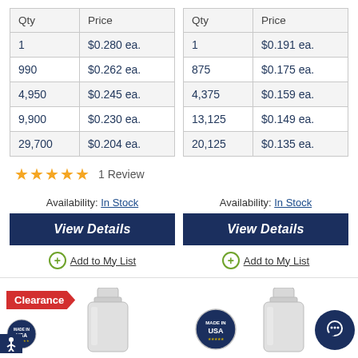| Qty | Price |
| --- | --- |
| 1 | $0.280 ea. |
| 990 | $0.262 ea. |
| 4,950 | $0.245 ea. |
| 9,900 | $0.230 ea. |
| 29,700 | $0.204 ea. |
| Qty | Price |
| --- | --- |
| 1 | $0.191 ea. |
| 875 | $0.175 ea. |
| 4,375 | $0.159 ea. |
| 13,125 | $0.149 ea. |
| 20,125 | $0.135 ea. |
★★★★★  1 Review
Availability: In Stock
Availability: In Stock
View Details
View Details
+ Add to My List
+ Add to My List
[Figure (other): Clearance banner, USA badge, glass bottle product image (left column)]
[Figure (other): USA badge, glass bottle product image (right column), chat bubble button]